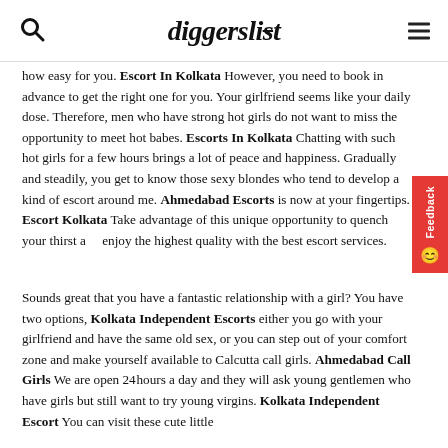diggerslist
how easy for you. Escort In Kolkata However, you need to book in advance to get the right one for you. Your girlfriend seems like your daily dose. Therefore, men who have strong hot girls do not want to miss the opportunity to meet hot babes. Escorts In Kolkata Chatting with such hot girls for a few hours brings a lot of peace and happiness. Gradually and steadily, you get to know those sexy blondes who tend to develop a kind of escort around me. Ahmedabad Escorts is now at your fingertips. Escort Kolkata Take advantage of this unique opportunity to quench your thirst and enjoy the highest quality with the best escort services.
Sounds great that you have a fantastic relationship with a girl? You have two options, Kolkata Independent Escorts either you go with your girlfriend and have the same old sex, or you can step out of your comfort zone and make yourself available to Calcutta call girls. Ahmedabad Call Girls We are open 24 hours a day and they will ask young gentlemen who have girls but still want to try young virgins. Kolkata Independent Escort You can visit these cute little